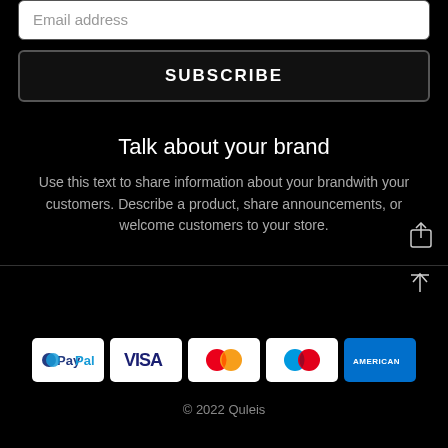Email address
SUBSCRIBE
Talk about your brand
Use this text to share information about your brandwith your customers. Describe a product, share announcements, or welcome customers to your store.
[Figure (infographic): Payment method logos: PayPal, Visa, Mastercard, Maestro, American Express]
© 2022 Quleis